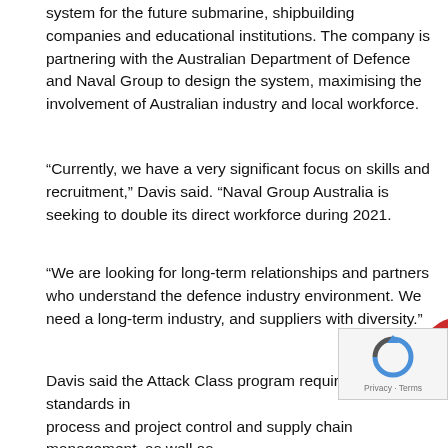system for the future submarine, shipbuilding companies and educational institutions. The company is partnering with the Australian Department of Defence and Naval Group to design the system, maximising the involvement of Australian industry and local workforce.
“Currently, we have a very significant focus on skills and recruitment,” Davis said. “Naval Group Australia is seeking to double its direct workforce during 2021.
“We are looking for long-term relationships and partners who understand the defence industry environment. We need a long-term industry, and suppliers with diversity.”
Davis said the Attack Class program requires high standards in process and project control and supply chain management, as well as engineering capabilities and staff qualifications.
“Essential requirements for s… on the Attack Class program include demonstrable capability and systems in the critical areas of quality, cyber and security,” he s…
[Figure (other): Red pill-shaped button with white text: + JOIN OUR NEWSLETTER]
[Figure (other): reCAPTCHA widget with Privacy - Terms label]
The first local manufacturing package released by the Naval G… October last year called for partners to design 23 specialised parts for